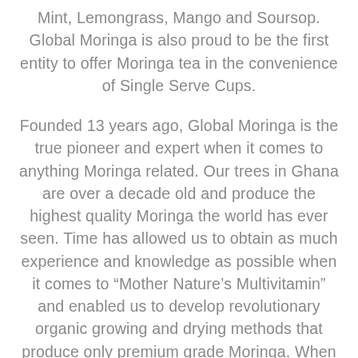Mint, Lemongrass, Mango and Soursop. Global Moringa is also proud to be the first entity to offer Moringa tea in the convenience of Single Serve Cups.
Founded 13 years ago, Global Moringa is the true pioneer and expert when it comes to anything Moringa related. Our trees in Ghana are over a decade old and produce the highest quality Moringa the world has ever seen. Time has allowed us to obtain as much experience and knowledge as possible when it comes to “Mother Nature’s Multivitamin” and enabled us to develop revolutionary organic growing and drying methods that produce only premium grade Moringa. When you consume a Global Moringa product, rest assured you are receiving nothing but the best and